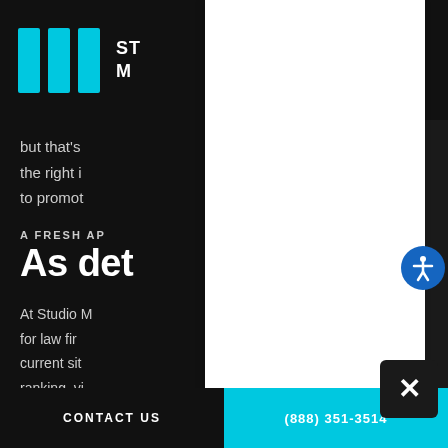ST M (logo with three cyan bars)
but that's
the right i
to promot
A FRESH AP
As det
At Studio M
for law fir
current sit
ranking, vi
read. This allows us to build on the online presence you
have already established. You may have tried various
CONTACT US   (888) 351-3514